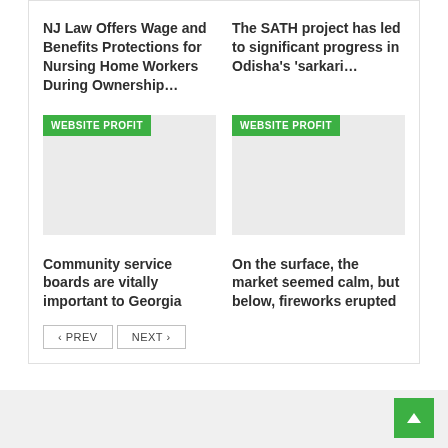NJ Law Offers Wage and Benefits Protections for Nursing Home Workers During Ownership…
The SATH project has led to significant progress in Odisha's 'sarkari…
[Figure (other): Gray placeholder image with green WEBSITE PROFIT badge overlay, left column]
[Figure (other): Gray placeholder image with green WEBSITE PROFIT badge overlay, right column]
Community service boards are vitally important to Georgia
On the surface, the market seemed calm, but below, fireworks erupted
‹ PREV
NEXT ›